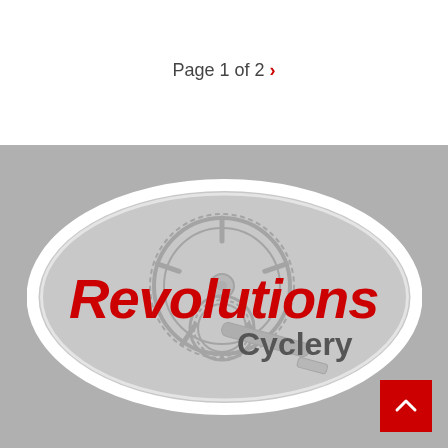Page 1 of 2 >
[Figure (logo): Revolutions Cyclery logo: red bold italic 'Revolutions' text with a gray bicycle chainring/crankset illustration behind it, and 'Cyclery' in dark gray, all inside a white oval on a gray background.]